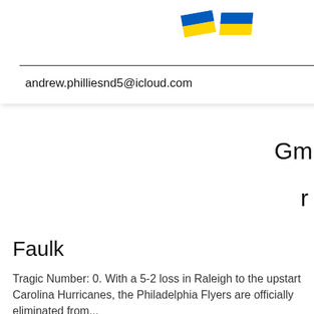[Figure (screenshot): Dropdown navigation menu overlay with Ukrainian flag emoji, hamburger menu icon, email address andrew.philliesnd5@icloud.com, and Twitter bird icon]
Gm
r
Faulk
Tragic Number: 0. With a 5-2 loss in Raleigh to the upstart Carolina Hurricanes, the Philadelphia Flyers are officially eliminated from...
[Figure (photo): Hockey game photo showing Philadelphia Flyers goalie at the net with fans in orange jerseys visible in background; blue ellipsis/more button overlay in bottom right]